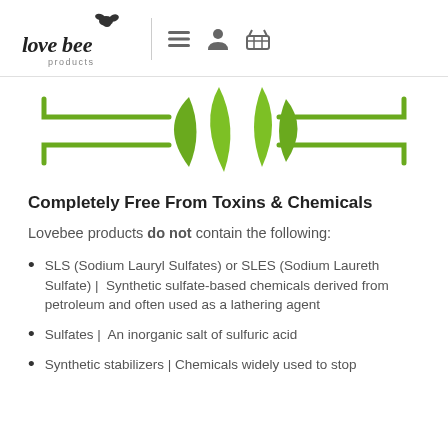[Figure (logo): Lovebee products logo with bee icon and nav icons (hamburger menu, user, basket)]
[Figure (illustration): Decorative green plant/leaves with hand-drawn green bracket corners on each side]
Completely Free From Toxins & Chemicals
Lovebee products do not contain the following:
SLS (Sodium Lauryl Sulfates) or SLES (Sodium Laureth Sulfate) |  Synthetic sulfate-based chemicals derived from petroleum and often used as a lathering agent
Sulfates |  An inorganic salt of sulfuric acid
Synthetic stabilizers | Chemicals widely used to stop